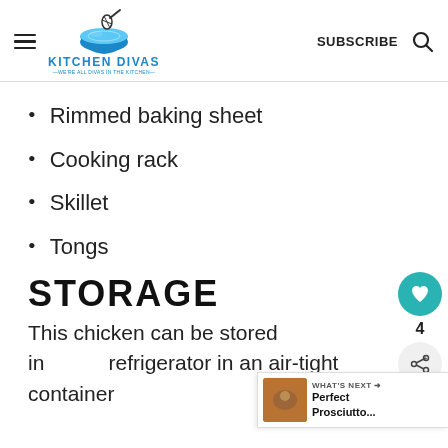KITCHEN DIVAS — WE'RE ALL DIVAS IN THE KITCHEN —  SUBSCRIBE
Rimmed baking sheet
Cooking rack
Skillet
Tongs
STORAGE
This chicken can be stored in refrigerator in an air-tight container